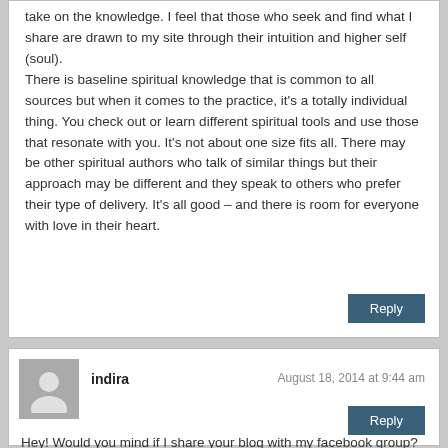take on the knowledge. I feel that those who seek and find what I share are drawn to my site through their intuition and higher self (soul).
There is baseline spiritual knowledge that is common to all sources but when it comes to the practice, it's a totally individual thing. You check out or learn different spiritual tools and use those that resonate with you. It's not about one size fits all. There may be other spiritual authors who talk of similar things but their approach may be different and they speak to others who prefer their type of delivery. It's all good – and there is room for everyone with love in their heart.
Reply
indira
August 18, 2014 at 9:44 am
Hey! Would you mind if I share your blog with my facebook group? There's a lot of folks that I think would really enjoy your content. Please let me know. Cheers
Reply